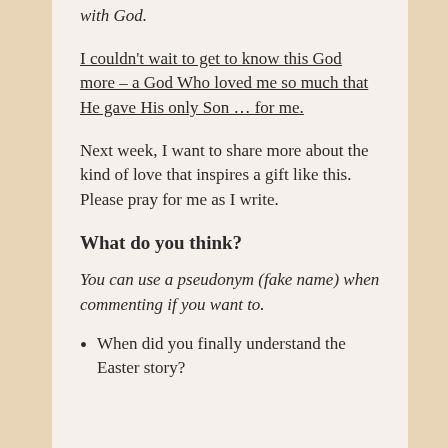with God.
I couldn't wait to get to know this God more – a God Who loved me so much that He gave His only Son … for me.
Next week, I want to share more about the kind of love that inspires a gift like this. Please pray for me as I write.
What do you think?
You can use a pseudonym (fake name) when commenting if you want to.
When did you finally understand the Easter story?